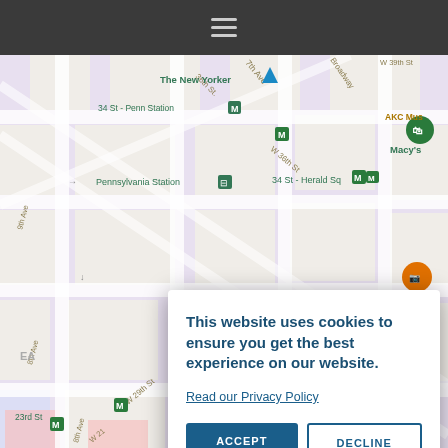[Figure (screenshot): Top navigation bar with hamburger menu icon on dark background]
[Figure (map): Google Maps view of Midtown Manhattan showing Penn Station, 34th Street Herald Square, Macy's, Pennsylvania Station, Empire State Building area, streets including W 29th St, W 36th St, W 39th St, 7th Ave, Broadway, 8th Ave]
This website uses cookies to ensure you get the best experience on our website.
Read our Privacy Policy
ACCEPT
DECLINE